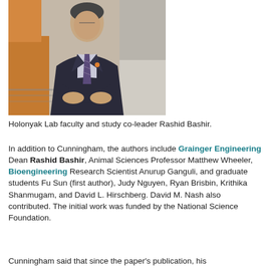[Figure (photo): Professional headshot of Rashid Bashir, a man in a dark suit with a striped tie, arms crossed, photographed in front of a modern building interior.]
Holonyak Lab faculty and study co-leader Rashid Bashir.
In addition to Cunningham, the authors include Grainger Engineering Dean Rashid Bashir, Animal Sciences Professor Matthew Wheeler, Bioengineering Research Scientist Anurup Ganguli, and graduate students Fu Sun (first author), Judy Nguyen, Ryan Brisbin, Krithika Shanmugam, and David L. Hirschberg. David M. Nash also contributed. The initial work was funded by the National Science Foundation.
Cunningham said that since the paper's publication, his